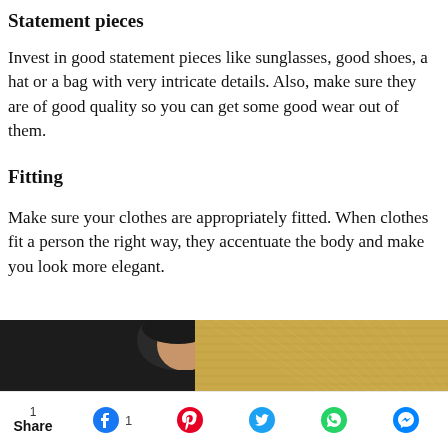Statement pieces
Invest in good statement pieces like sunglasses, good shoes, a hat or a bag with very intricate details. Also, make sure they are of good quality so you can get some good wear out of them.
Fitting
Make sure your clothes are appropriately fitted. When clothes fit a person the right way, they accentuate the body and make you look more elegant.
[Figure (photo): Partial photo showing a person's head/shoulders against a decorative fan background, cropped at bottom of page]
1 Share  [Facebook 1] [Pinterest] [Twitter] [WhatsApp] [Messenger]